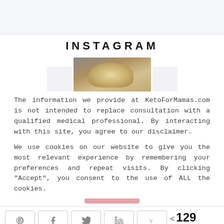INSTAGRAM
[Figure (photo): Partial photo of a person with blonde hair, cropped at top of head, shown below the INSTAGRAM heading]
The information we provide at KetoForMamas.com is not intended to replace consultation with a qualified medical professional. By interacting with this site, you agree to our disclaimer.
We use cookies on our website to give you the most relevant experience by remembering your preferences and repeat visits. By clicking "Accept", you consent to the use of ALL the cookies.
129 SHARES